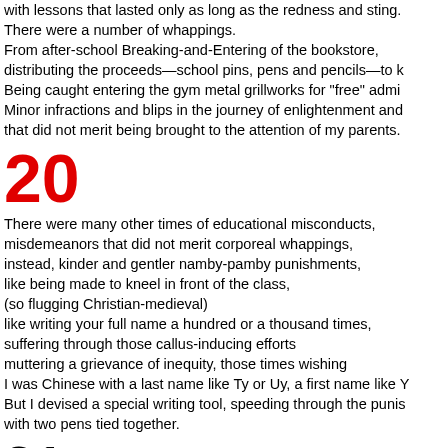with lessons that lasted only as long as the redness and sting. There were a number of whappings. From after-school Breaking-and-Entering of the bookstore, distributing the proceeds—school pins, pens and pencils—to k Being caught entering the gym metal grillworks for "free" admi Minor infractions and blips in the journey of enlightenment and that did not merit being brought to the attention of my parents.
20
There were many other times of educational misconducts, misdemeanors that did not merit corporeal whappings, instead, kinder and gentler namby-pamby punishments, like being made to kneel in front of the class, (so flugging Christian-medieval) like writing your full name a hundred or a thousand times, suffering through those callus-inducing efforts muttering a grievance of inequity, those times wishing I was Chinese with a last name like Ty or Uy, a first name like Y But I devised a special writing tool, speeding through the punis with two pens tied together.
21
Sometimes, there were punishments meted out after class.